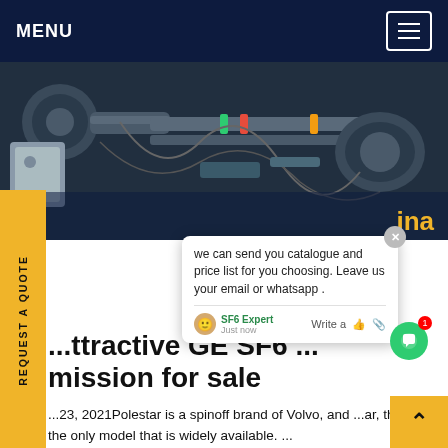MENU
[Figure (photo): Industrial/mechanical equipment photo showing pipes, fittings and machinery in dark blue tones]
...ttractive GE SF6 ...mission for sale
...23, 2021Polestar is a spinoff brand of Volvo, and ...ar, the 2 is the only model that is widely available. ...<pThis EV delivers brisk acceleration, zipping from zero to 60 mph in as little as 4.5 seconds. All that muscle puts a hurting on its MPGe rating, w... trails many of the cars on this list.</p <pThis EV's
we can send you catalogue and price list for you choosing. Leave us your email or whatsapp .
REQUEST A QUOTE